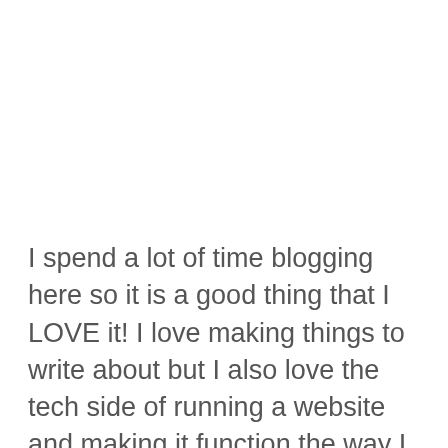I spend a lot of time blogging here so it is a good thing that I LOVE it! I love making things to write about but I also love the tech side of running a website and making it function the way I want it to. Every now and again people ask me about how it works and I'm happy to share. I have taught myself with tutorials online which are free for everyone. Here are some of the things I have been learning about